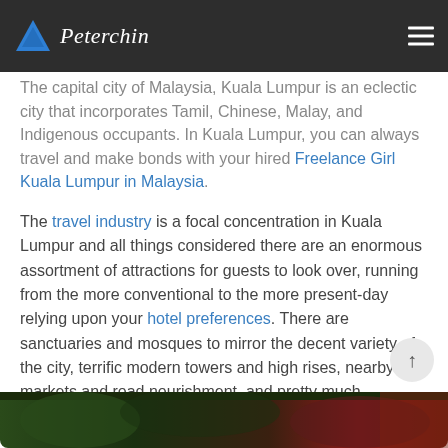Peterchin [logo with navigation]
The capital city of Malaysia, Kuala Lumpur is an eclectic city that incorporates Tamil, Chinese, Malay, and Indigenous occupants. In Kuala Lumpur, you can always travel and make bonds with your hired Freelance Girl Kuala Lumpur in Malaysia.
The travel industry is a focal concentration in Kuala Lumpur and all things considered there are an enormous assortment of attractions for guests to look over, running from the more conventional to the more present-day relying upon your hotel preferences. There are sanctuaries and mosques to mirror the decent variety of the city, terrific modern towers and high rises, nearby markets and road nourishment, and pretty much whatever else you can envision.
[Figure (photo): Bottom edge of a photograph showing outdoor/nature scene, partially visible at bottom of page]